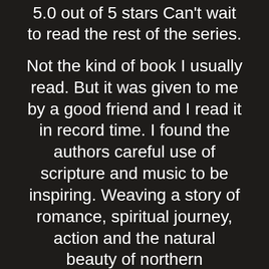5.0 out of 5 stars Can't wait to read the rest of the series.
Not the kind of book I usually read. But it was given to me by a good friend and I read it in record time. I found the authors careful use of scripture and music to be inspiring. Weaving a story of romance, spiritual journey, action and the natural beauty of northern Minnesota the author did a great job of creating a page turner. I can't wait for the next one.